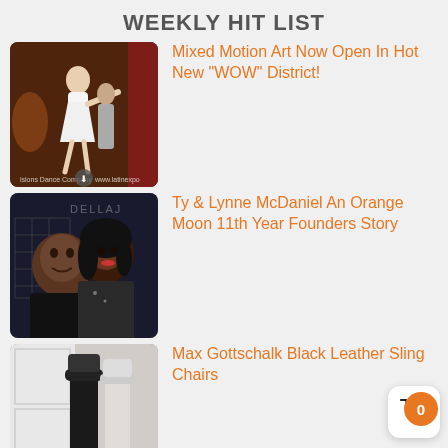WEEKLY HIT LIST
Mixed Motion Art Now Open In Hot New “WOW” District!
Ty & Lynne McDaniel An Orange Moon 11th Year Founders Story
Max Gottschalk Black Leather Sling Chairs